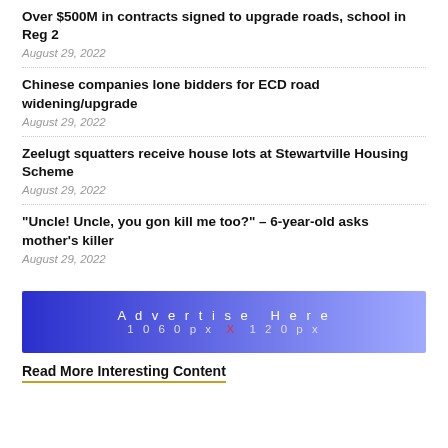Over $500M in contracts signed to upgrade roads, school in Reg 2
August 29, 2022
Chinese companies lone bidders for ECD road widening/upgrade
August 29, 2022
Zeelugt squatters receive house lots at Stewartville Housing Scheme
August 29, 2022
"Uncle! Uncle, you gon kill me too?" – 6-year-old asks mother's killer
August 29, 2022
[Figure (infographic): Advertisement banner with blue gradient background reading 'Advertise Here 1060px X 120px']
Read More Interesting Content